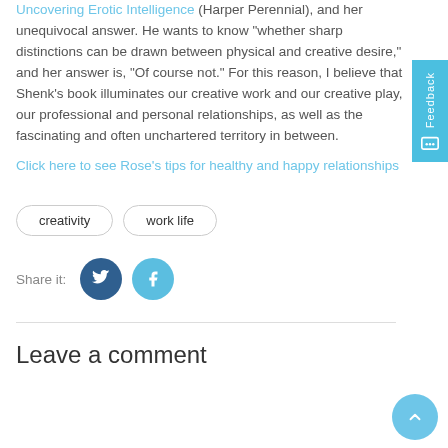Uncovering Erotic Intelligence (Harper Perennial), and her unequivocal answer. He wants to know "whether sharp distinctions can be drawn between physical and creative desire," and her answer is, "Of course not." For this reason, I believe that Shenk's book illuminates our creative work and our creative play, our professional and personal relationships, as well as the fascinating and often unchartered territory in between.
Click here to see Rose's tips for healthy and happy relationships
creativity
work life
Share it:
Leave a comment